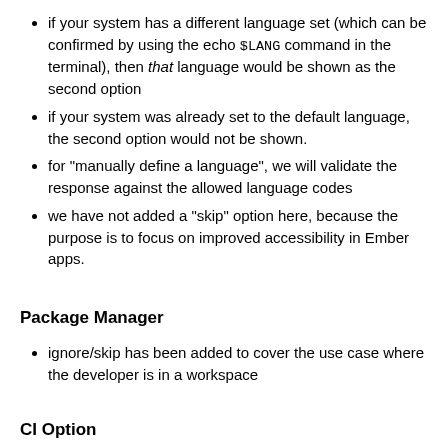if your system has a different language set (which can be confirmed by using the echo $LANG command in the terminal), then that language would be shown as the second option
if your system was already set to the default language, the second option would not be shown.
for "manually define a language", we will validate the response against the allowed language codes
we have not added a "skip" option here, because the purpose is to focus on improved accessibility in Ember apps.
Package Manager
ignore/skip has been added to cover the use case where the developer is in a workspace
CI Option
Separate RFCs should further define more options for